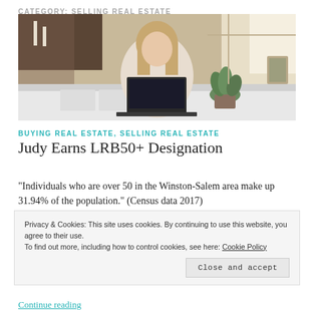CATEGORY: SELLING REAL ESTATE
[Figure (photo): Woman with blonde hair sitting at a white desk with a laptop, in a home interior setting with candles, shelving, and plants in the background.]
BUYING REAL ESTATE, SELLING REAL ESTATE
Judy Earns LRB50+ Designation
"Individuals who are over 50 in the Winston-Salem area make up 31.94% of the population." (Census data 2017)
Privacy & Cookies: This site uses cookies. By continuing to use this website, you agree to their use.
To find out more, including how to control cookies, see here: Cookie Policy
Close and accept
Continue reading